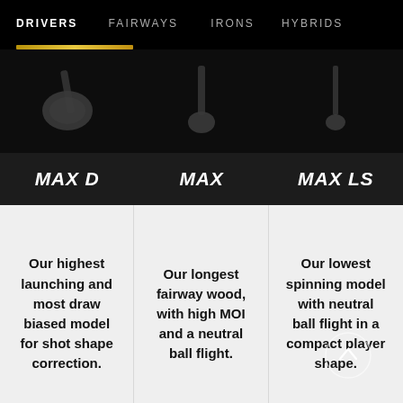DRIVERS   FAIRWAYS   IRONS   HYBRIDS
[Figure (photo): Three golf club heads shown against dark background, partially visible, one highlighted with gold/yellow accent bar under DRIVERS tab]
MAX D   MAX   MAX LS
Our highest launching and most draw biased model for shot shape correction.
Our longest fairway wood, with high MOI and a neutral ball flight.
Our lowest spinning model with neutral ball flight in a compact player shape.